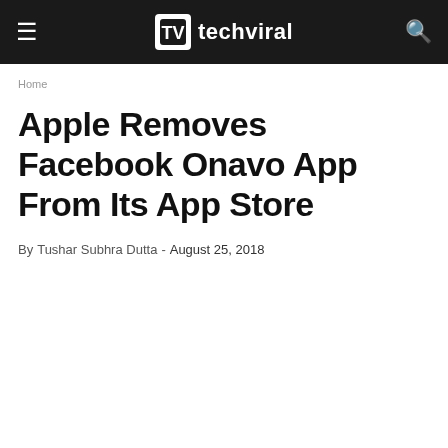techviral
Home
Apple Removes Facebook Onavo App From Its App Store
By Tushar Subhra Dutta - August 25, 2018